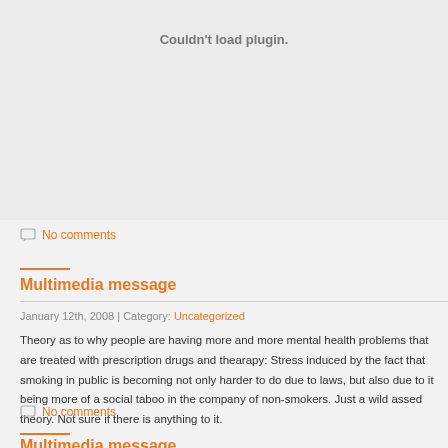[Figure (other): Plugin placeholder area with 'Couldn't load plugin.' text]
No comments
Multimedia message
January 12th, 2008 | Category: Uncategorized
Theory as to why people are having more and more mental health problems that are treated with prescription drugs and thearapy: Stress induced by the fact that smoking in public is becoming not only harder to do due to laws, but also due to it being more of a social taboo in the company of non-smokers. Just a wild assed theory. Not sure if there is anything to it.
No comments
Multimedia message